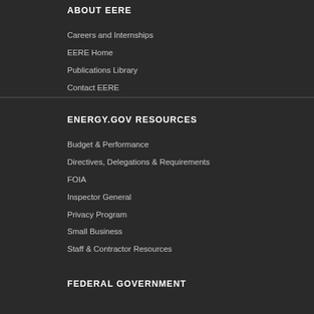ABOUT EERE
Careers and Internships
EERE Home
Publications Library
Contact EERE
ENERGY.GOV RESOURCES
Budget & Performance
Directives, Delegations & Requirements
FOIA
Inspector General
Privacy Program
Small Business
Staff & Contractor Resources
FEDERAL GOVERNMENT